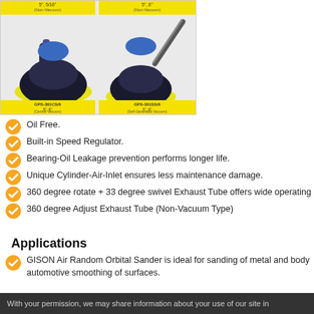[Figure (photo): Two air random orbital sanders shown from above, with yellow product label overlay showing model names GPS-301CS/6 (5", 6", Central Vacuum) and GPS-301SS/6 (5", 6", Self-Generated Vacuum) in the bottom row, and Non-Vacuum models in yellow labels at top.]
Oil Free.
Built-in Speed Regulator.
Bearing-Oil Leakage prevention performs longer life.
Unique Cylinder-Air-Inlet ensures less maintenance damage.
360 degree rotate + 33 degree swivel Exhaust Tube offers wide operating
360 degree Adjust Exhaust Tube (Non-Vacuum Type)
Applications
GISON Air Random Orbital Sander is ideal for sanding of metal and body automotive smoothing of surfaces.
With your permission, we may share information about your use of our site in